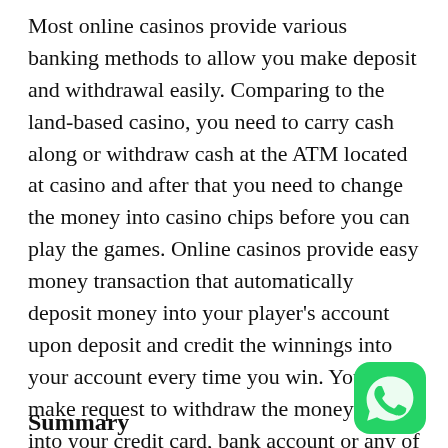Most online casinos provide various banking methods to allow you make deposit and withdrawal easily. Comparing to the land-based casino, you need to carry cash along or withdraw cash at the ATM located at casino and after that you need to change the money into casino chips before you can play the games. Online casinos provide easy money transaction that automatically deposit money into your player's account upon deposit and credit the winnings into your account every time you win. You can make request to withdraw the money safely into your credit card, bank account or any of your selected banking methods.
[Figure (logo): WhatsApp logo — green rounded square with white phone handset icon]
Summary